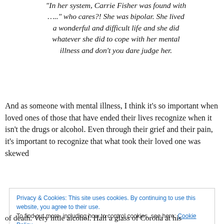“In her system, Carrie Fisher was found with …..” who cares?! She was bipolar. She lived a wonderful and difficult life and she did whatever she did to cope with her mental illness and don’t you dare judge her.
And as someone with mental illness, I think it’s so important when loved ones of those that have ended their lives recognize when it isn’t the drugs or alcohol. Even through their grief and their pain, it’s important to recognize that what took their loved one was skewed
Privacy & Cookies: This site uses cookies. By continuing to use this website, you agree to their use.
To find out more, including how to control cookies, see here: Cookie Policy
of death. Very little alcohol. Half a glass of Corona at his